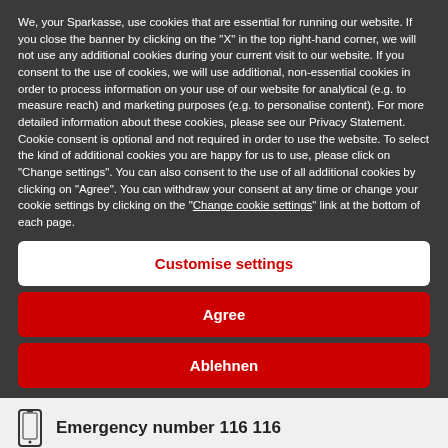We, your Sparkasse, use cookies that are essential for running our website. If you close the banner by clicking on the "X" in the top right-hand corner, we will not use any additional cookies during your current visit to our website. If you consent to the use of cookies, we will use additional, non-essential cookies in order to process information on your use of our website for analytical (e.g. to measure reach) and marketing purposes (e.g. to personalise content). For more detailed information about these cookies, please see our Privacy Statement. Cookie consent is optional and not required in order to use the website. To select the kind of additional cookies you are happy for us to use, please click on "Change settings". You can also consent to the use of all additional cookies by clicking on "Agree". You can withdraw your consent at any time or change your cookie settings by clicking on the "Change cookie settings" link at the bottom of each page.
Customise settings
Agree
Ablehnen
Emergency number 116 116